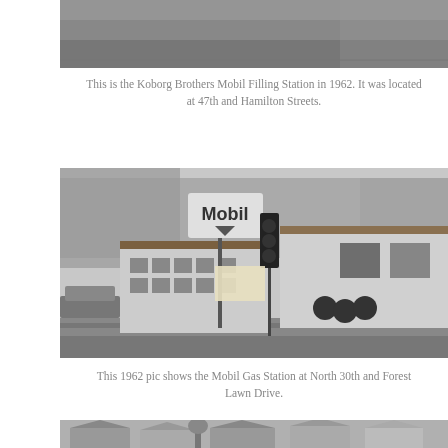[Figure (photo): Partial black and white photograph of a street scene, top portion of a filling station photo cropped at top of page]
This is the Koborg Brothers Mobil Filling Station in 1962. It was located at 47th and Hamilton Streets.
[Figure (photo): Black and white 1962 photograph of the Mobil Gas Station at North 30th and Forest Lawn Drive, showing the Mobil sign, gas pumps, and station building with trees in background]
This 1962 pic shows the Mobil Gas Station at North 30th and Forest Lawn Drive.
[Figure (photo): Partial black and white photograph of residential houses, bottom portion cropped at bottom of page]